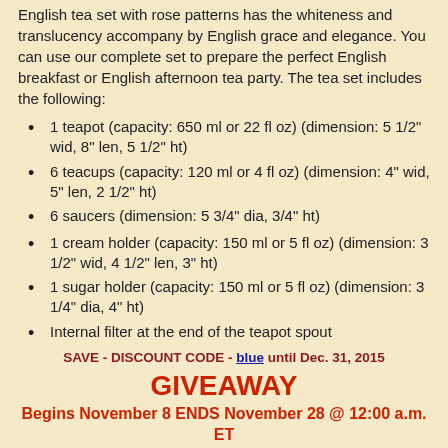English tea set with rose patterns has the whiteness and translucency accompany by English grace and elegance. You can use our complete set to prepare the perfect English breakfast or English afternoon tea party. The tea set includes the following:
1 teapot (capacity: 650 ml or 22 fl oz) (dimension: 5 1/2" wid, 8" len, 5 1/2" ht)
6 teacups (capacity: 120 ml or 4 fl oz) (dimension: 4" wid, 5" len, 2 1/2" ht)
6 saucers (dimension: 5 3/4" dia, 3/4" ht)
1 cream holder (capacity: 150 ml or 5 fl oz) (dimension: 3 1/2" wid, 4 1/2" len, 3" ht)
1 sugar holder (capacity: 150 ml or 5 fl oz) (dimension: 3 1/4" dia, 4" ht)
Internal filter at the end of the teapot spout
SAVE - DISCOUNT CODE - blue until Dec. 31, 2015
GIVEAWAY
Begins November 8 ENDS November 28 @ 12:00 a.m. ET
Open to USA addresses only